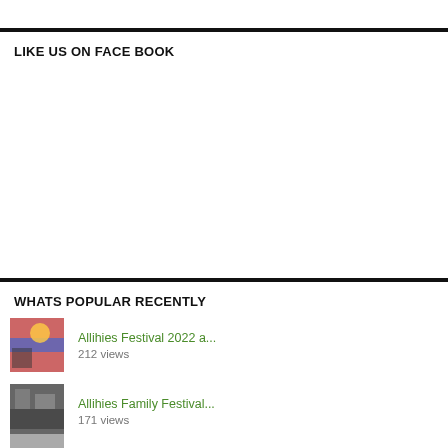LIKE US ON FACE BOOK
WHATS POPULAR RECENTLY
Allihies Festival 2022 a... 212 views
Allihies Family Festival... 171 views
Swimming Dursey Sound